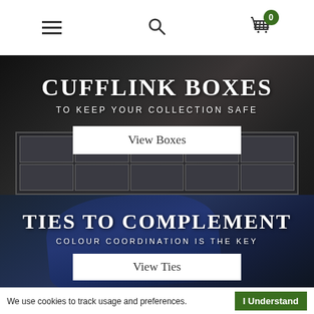[Figure (screenshot): Navigation bar with hamburger menu, search icon, and shopping cart with badge showing 0]
[Figure (photo): Dark background image of a cufflink storage box open showing compartments, with cufflinks scattered around]
CUFFLINK BOXES
TO KEEP YOUR COLLECTION SAFE
View Boxes
[Figure (photo): Dark blue background with a folded navy tie on a blue shirt]
TIES TO COMPLEMENT
COLOUR COORDINATION IS THE KEY
View Ties
We use cookies to track usage and preferences.
I Understand